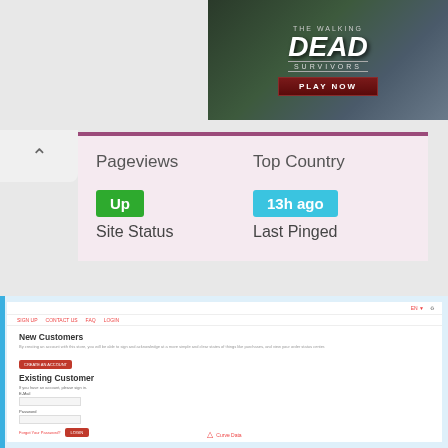[Figure (screenshot): Advertisement banner for 'The Walking Dead: Survivors' game with PLAY NOW button]
Pageviews
Top Country
Up
Site Status
13h ago
Last Pinged
[Figure (screenshot): Website screenshot showing a login page with New Customers and Existing Customer sections]